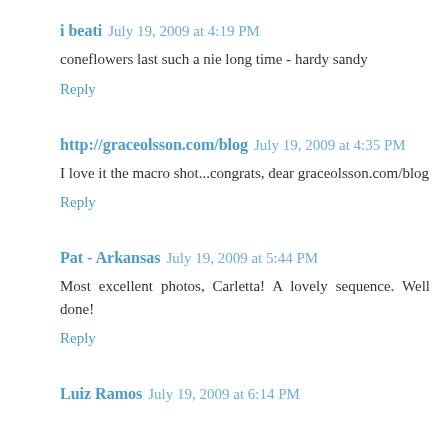i beati  July 19, 2009 at 4:19 PM
coneflowers last such a nie long time - hardy sandy
Reply
http://graceolsson.com/blog  July 19, 2009 at 4:35 PM
I love it the macro shot...congrats, dear graceolsson.com/blog
Reply
Pat - Arkansas  July 19, 2009 at 5:44 PM
Most excellent photos, Carletta! A lovely sequence. Well done!
Reply
Luiz Ramos  July 19, 2009 at 6:14 PM